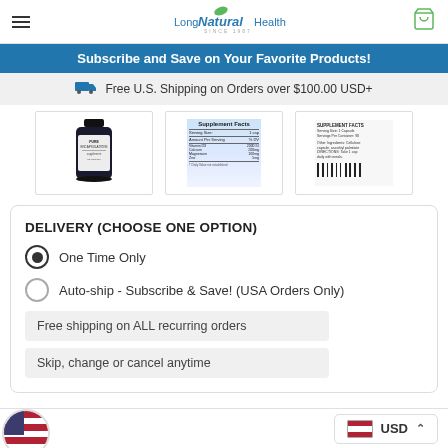[Figure (screenshot): Long Natural Health website header with hamburger menu, logo, and cart icon]
Subscribe and Save on Your Favorite Products!
Free U.S. Shipping on Orders over $100.00 USD+
[Figure (photo): Three product thumbnail images: supplement bottle, supplement facts label, back label with barcode]
DELIVERY (CHOOSE ONE OPTION)
One Time Only
Auto-ship - Subscribe & Save! (USA Orders Only)
Free shipping on ALL recurring orders
Skip, change or cancel anytime
USD